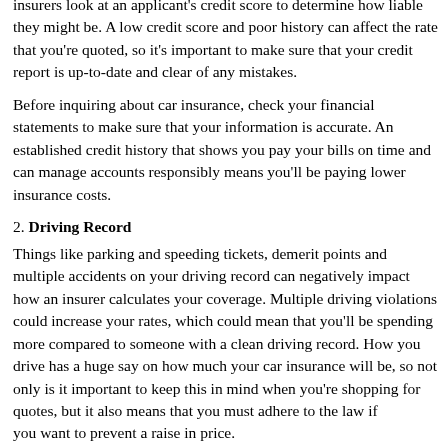insurers look at an applicant's credit score to determine how liable they might be. A low credit score and poor history can affect the rate that you're quoted, so it's important to make sure that your credit report is up-to-date and clear of any mistakes.
Before inquiring about car insurance, check your financial statements to make sure that your information is accurate. An established credit history that shows you pay your bills on time and can manage accounts responsibly means you'll be paying lower insurance costs.
2. Driving Record
Things like parking and speeding tickets, demerit points and multiple accidents on your driving record can negatively impact how an insurer calculates your coverage. Multiple driving violations could increase your rates, which could mean that you'll be spending more compared to someone with a clean driving record. How you drive has a huge say on how much your car insurance will be, so not only is it important to keep this in mind when you're shopping for quotes, but it also means that you must adhere to the law if you want to prevent a raise in price.